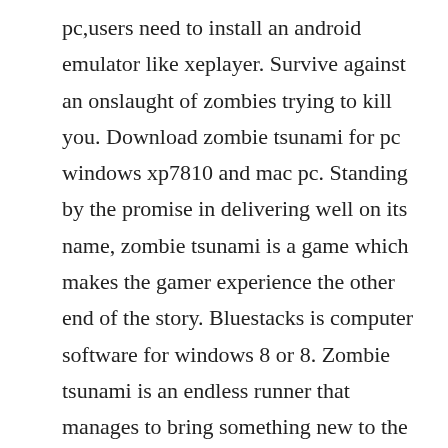pc,users need to install an android emulator like xeplayer. Survive against an onslaught of zombies trying to kill you. Download zombie tsunami for pc windows xp7810 and mac pc. Standing by the promise in delivering well on its name, zombie tsunami is a game which makes the gamer experience the other end of the story. Bluestacks is computer software for windows 8 or 8. Zombie tsunami is an endless runner that manages to bring something new to the genre. Zombie tsunami for pc 2020 free download for windows 10.